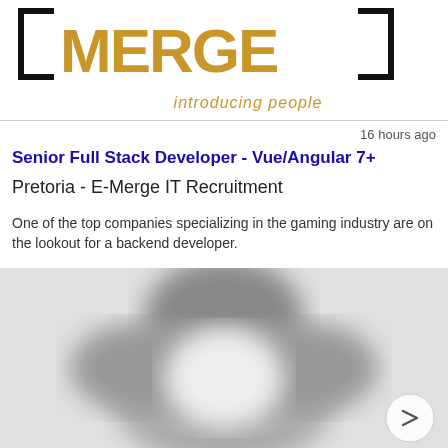[Figure (logo): E-Merge IT Recruitment logo with stylized text and 'introducing people' tagline in orange]
16 hours ago
Senior Full Stack Developer - Vue/Angular 7+
Pretoria - E-Merge IT Recruitment
One of the top companies specializing in the gaming industry are on the lookout for a backend developer.
[Figure (photo): Blurred grayscale image of a person or object, partially visible with a next/forward navigation arrow button in the bottom right]